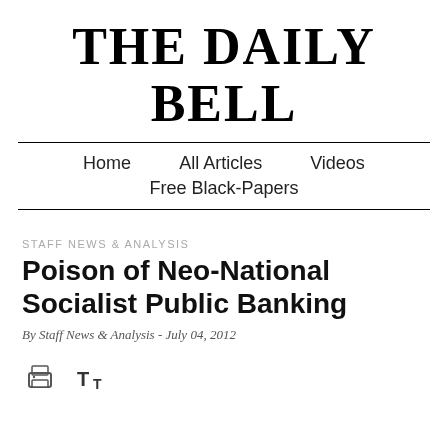THE DAILY BELL
Home   All Articles   Videos   Free Black-Papers
STAFF NEWS & ANALYSIS
Poison of Neo-National Socialist Public Banking
By Staff News & Analysis - July 04, 2012